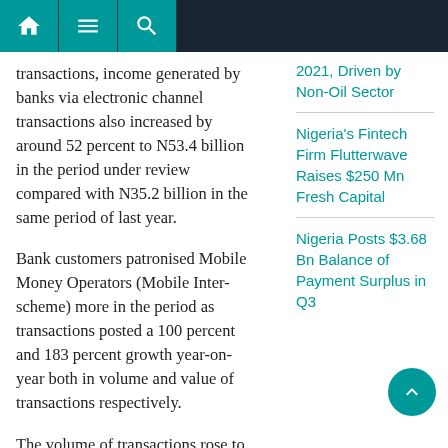[Navigation bar with home, menu, search icons]
transactions, income generated by banks via electronic channel transactions also increased by around 52 percent to N53.4 billion in the period under review compared with N35.2 billion in the same period of last year.
Bank customers patronised Mobile Money Operators (Mobile Inter-scheme) more in the period as transactions posted a 100 percent and 183 percent growth year-on-year both in volume and value of transactions respectively.
The volume of transactions rose to 486.36 million in the first quarter of 2021 from 244.16 million last year while the value of
2021, Driven by Non-Oil Sector
Nigeria's Fintech Firm Flutterwave Raises $250 Mn Fresh Capital
Nigeria Posts $3.68 Bn Balance of Payment Surplus in Q3